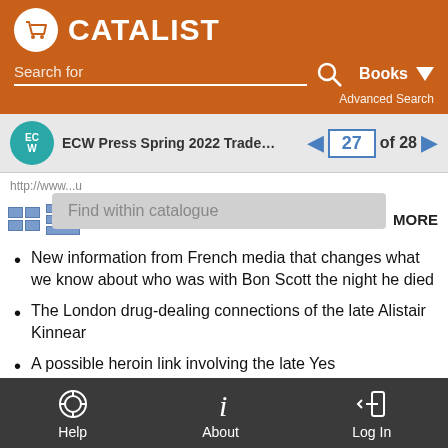[Figure (logo): Catalist logo with shopping cart icon in white circle on orange background]
Search for   Books   Advanced Search
ECW Press Spring 2022 Trade   27 of 28
http://www...
Find within catalogue   MORE
New information from French media that changes what we know about who was with Bon Scott the night he died
The London drug-dealing connections of the late Alistair Kinnear
A possible heroin link involving the late Yes bassist Chris Squire
Help   About   Log In